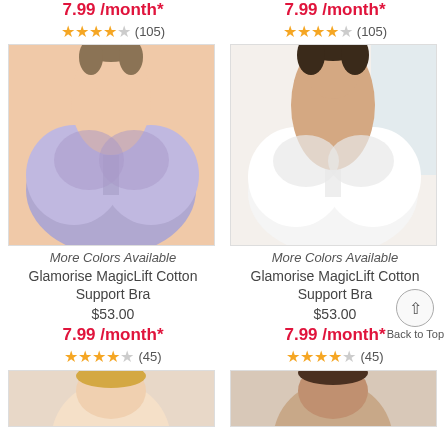7.99 /month*
★★★★☆ (105)
[Figure (photo): Woman wearing lavender/purple Glamorise MagicLift Cotton Support Bra]
More Colors Available
Glamorise MagicLift Cotton Support Bra
$53.00
7.99 /month*
★★★★☆ (45)
[Figure (photo): Partial view of a product image at the bottom left]
7.99 /month*
★★★★☆ (105)
[Figure (photo): Woman wearing white Glamorise MagicLift Cotton Support Bra]
More Colors Available
Glamorise MagicLift Cotton Support Bra
$53.00
7.99 /month*
★★★★☆ (45)
[Figure (photo): Partial view of a product image at the bottom right]